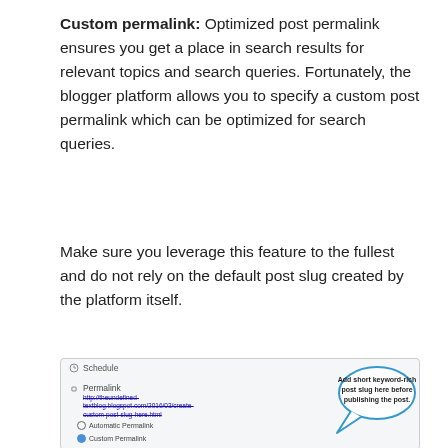Custom permalink: Optimized post permalink ensures you get a place in search results for relevant topics and search queries. Fortunately, the blogger platform allows you to specify a custom post permalink which can be optimized for search queries.
Make sure you leverage this feature to the fullest and do not rely on the default post slug created by the platform itself.
[Figure (screenshot): Screenshot of a blogging platform's post settings panel showing Schedule, Permalink sections with an automatic/custom permalink radio button selection, and a callout bubble saying 'Add short keyword-rich post slug here before publishing the post.']